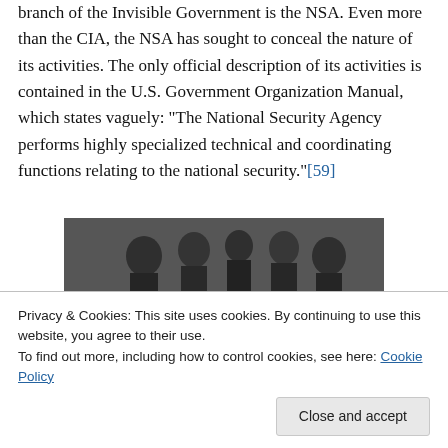branch of the Invisible Government is the NSA. Even more than the CIA, the NSA has sought to conceal the nature of its activities. The only official description of its activities is contained in the U.S. Government Organization Manual, which states vaguely: “The National Security Agency performs highly specialized technical and coordinating functions relating to the national security.”[59]
[Figure (photo): Black and white photograph showing several men seated and standing, appearing to be at an official or diplomatic meeting. Several people in military or formal attire are visible.]
Privacy & Cookies: This site uses cookies. By continuing to use this website, you agree to their use.
To find out more, including how to control cookies, see here: Cookie Policy